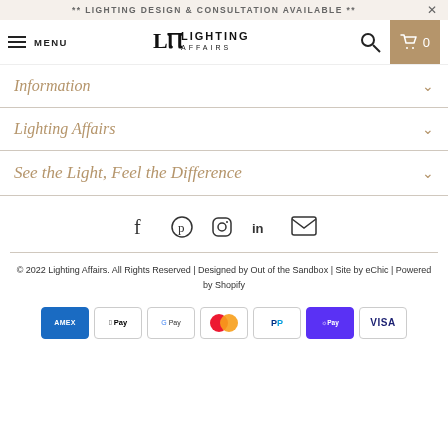** LIGHTING DESIGN & CONSULTATION AVAILABLE **
[Figure (screenshot): Navigation bar with hamburger menu, LA Lighting Affairs logo, search icon, and cart icon showing 0]
Information
Lighting Affairs
See the Light, Feel the Difference
[Figure (infographic): Social media icons row: Facebook, Pinterest, Instagram, LinkedIn, Email]
© 2022 Lighting Affairs. All Rights Reserved | Designed by Out of the Sandbox | Site by eChic | Powered by Shopify
[Figure (infographic): Payment method icons: American Express, Apple Pay, Google Pay, Mastercard, PayPal, ShopPay, Visa]